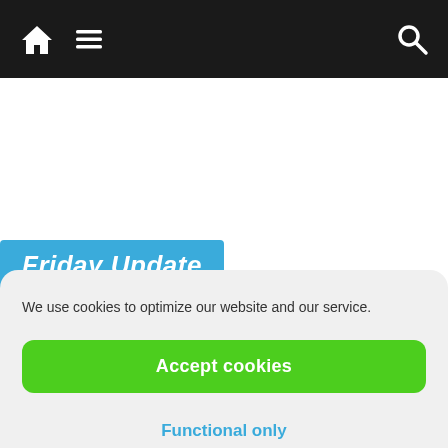Navigation bar with home icon, menu icon, and search icon
Friday Update
◄ DETECTING   Fr...   09 A   ►
We use cookies to optimize our website and our service.
Accept cookies
Functional only
View preferences